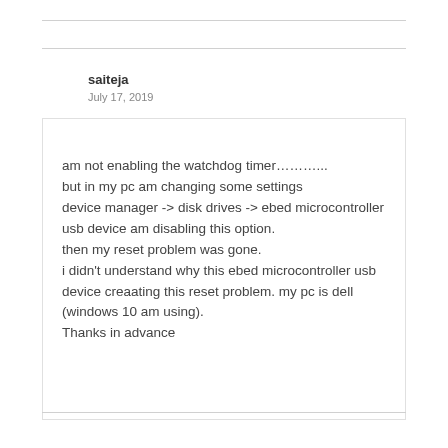saiteja
July 17, 2019
am not enabling the watchdog timer………...
but in my pc am changing some settings
device manager -> disk drives -> ebed microcontroller usb device am disabling this option.
then my reset problem was gone.
i didn't understand why this ebed microcontroller usb device creaating this reset problem. my pc is dell (windows 10 am using).
Thanks in advance